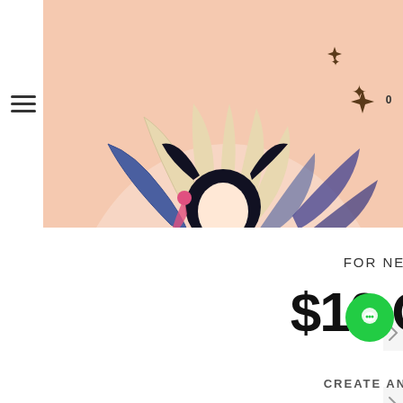[Figure (photo): Screenshot of an e-commerce website showing an anime figurine product (a character in purple/white robes on a dark base with butterfly decorations) against a pink/peach background. The page has a left navigation sidebar, right navigation arrows, and a promotional banner at the bottom.]
FOR NEW USERS
$10 OFF
CREATE AN ACCOUNT